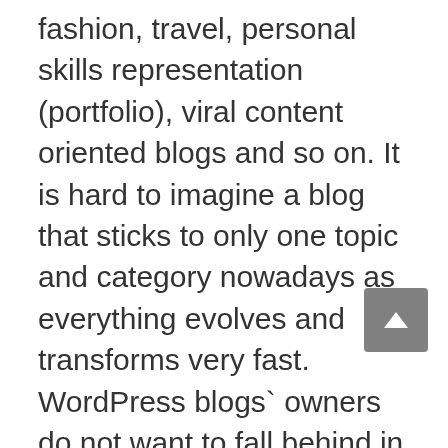fashion, travel, personal skills representation (portfolio), viral content oriented blogs and so on. It is hard to imagine a blog that sticks to only one topic and category nowadays as everything evolves and transforms very fast. WordPress blogs` owners do not want to fall behind in this constant development stream.
To keep your lifestyle blog interesting and up-to-date you need to track and implement all new features and tricks you see around in internet. Only a premium WordPress theme will allow you to